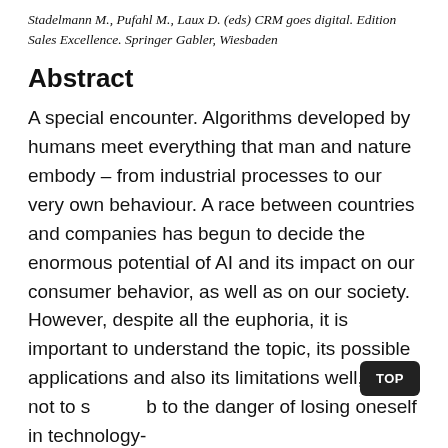Stadelmann M., Pufahl M., Laux D. (eds) CRM goes digital. Edition Sales Excellence. Springer Gabler, Wiesbaden
Abstract
A special encounter. Algorithms developed by humans meet everything that man and nature embody – from industrial processes to our very own behaviour. A race between countries and companies has begun to decide the enormous potential of AI and its impact on our consumer behavior, as well as on our society. However, despite all the euphoria, it is important to understand the topic, its possible applications and also its limitations well, so as not to succumb to the danger of losing oneself in technology-